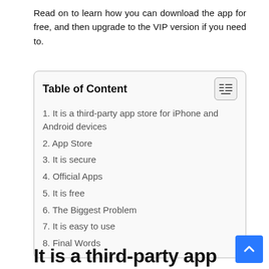Read on to learn how you can download the app for free, and then upgrade to the VIP version if you need to.
Table of Content
1. It is a third-party app store for iPhone and Android devices
2. App Store
3. It is secure
4. Official Apps
5. It is free
6. The Biggest Problem
7. It is easy to use
8. Final Words
It is a third-party app